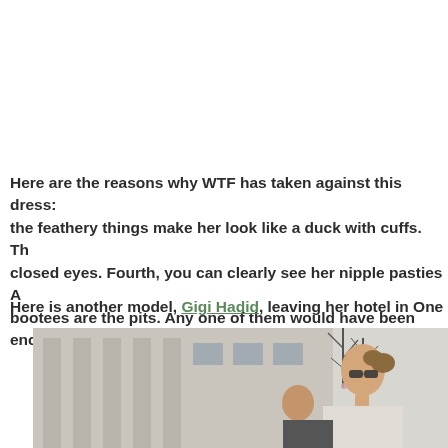Here are the reasons why WTF has taken against this dress: the feathery things make her look like a duck with cuffs. Th closed eyes. Fourth, you can clearly see her nipple pasties A bootees are the pits. Any one of them would have been enoug
Here is another model, Gigi Hadid, leaving her hotel in One
[Figure (photo): Photo of a young woman with sunglasses and hair pulled back, standing outside in front of a building with columns, trees visible in the background.]